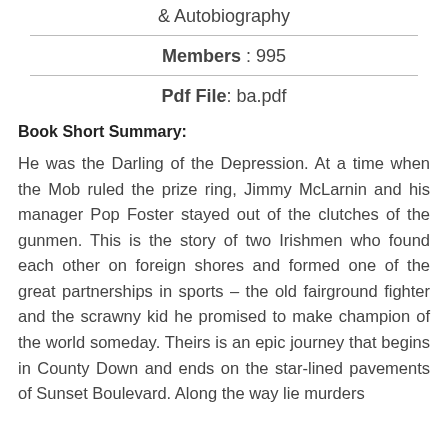& Autobiography
Members : 995
Pdf File: ba.pdf
Book Short Summary:
He was the Darling of the Depression. At a time when the Mob ruled the prize ring, Jimmy McLarnin and his manager Pop Foster stayed out of the clutches of the gunmen. This is the story of two Irishmen who found each other on foreign shores and formed one of the great partnerships in sports – the old fairground fighter and the scrawny kid he promised to make champion of the world someday. Theirs is an epic journey that begins in County Down and ends on the star-lined pavements of Sunset Boulevard. Along the way lie murders